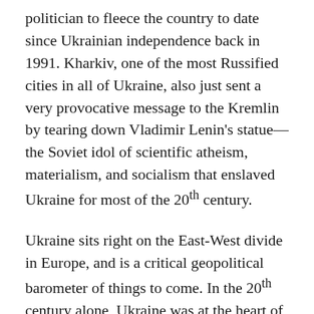politician to fleece the country to date since Ukrainian independence back in 1991. Kharkiv, one of the most Russified cities in all of Ukraine, also just sent a very provocative message to the Kremlin by tearing down Vladimir Lenin's statue—the Soviet idol of scientific atheism, materialism, and socialism that enslaved Ukraine for most of the 20th century.
Ukraine sits right on the East-West divide in Europe, and is a critical geopolitical barometer of things to come. In the 20th century alone, Ukraine was at the heart of virtually every European catastrophe, a situation that could easily repeat itself if politicians continue to ignore the Russian-Ukrainian crisis. World War I, the Communist Revolution, Stalin's undeclared brutal war of